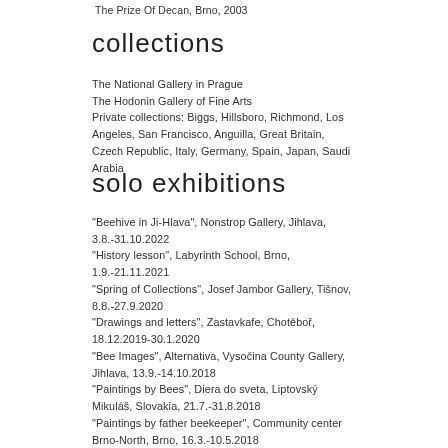The Prize Of Decan, Brno, 2003
collections
The National Gallery in Prague
The Hodonin Gallery of Fine Arts
Private collections: Biggs, Hillsboro, Richmond, Los Angeles, San Francisco, Anguilla, Great Britain, Czech Republic, Italy, Germany, Spain, Japan, Saudi Arabia
solo exhibitions
"Beehive in Ji-Hlava", Nonstrop Gallery, Jihlava, 3.8.-31.10.2022
"History lesson", Labyrinth School, Brno, 1.9.-21.11.2021
"Spring of Collections", Josef Jambor Gallery, Tišnov, 8.8.-27.9.2020
"Drawings and letters", Zastavkafe, Chotěboř, 18.12.2019-30.1.2020
"Bee Images", Alternativa, Vysočina County Gallery, Jihlava, 13.9.-14.10.2018
"Paintings by Bees", Diera do sveta, Liptovský Mikuláš, Slovakia, 21.7.-31.8.2018
"Paintings by father beekeeper", Community center Brno-North, Brno, 16.3.-10.5.2018
"Drawings", Doma Gallery, Kyjov, 13.5.-8.6.2017
"Art with Bees", Deptford Cinema, London, 16.-31.3.2017
"Layer of Illusion", Gallery U kolen / Tři ocásci, Brno, 10.10.-11.11.2016
"Plevel in Jindřišská", vegan & raw restaurant Plevel, Prague, 16.9.-10.11.2016
"Commemoration, celebration for extinct plants"